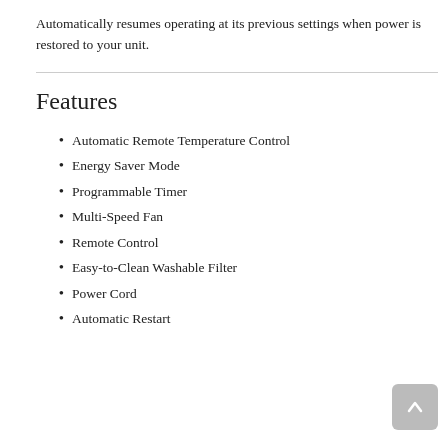Automatically resumes operating at its previous settings when power is restored to your unit.
Features
Automatic Remote Temperature Control
Energy Saver Mode
Programmable Timer
Multi-Speed Fan
Remote Control
Easy-to-Clean Washable Filter
Power Cord
Automatic Restart